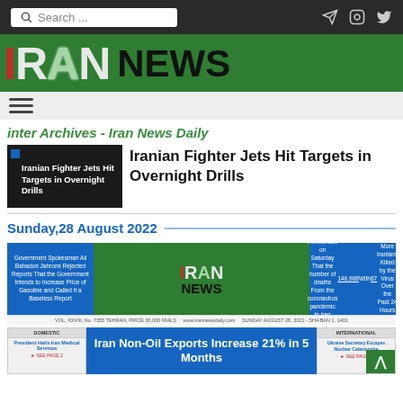Search ... [navigation bar with search and social icons]
[Figure (logo): IRAN NEWS logo on green background]
[Figure (other): Hamburger menu icon]
inter Archives - Iran News Daily
[Figure (photo): Iranian Fighter Jets Hit Targets in Overnight Drills - dark thumbnail]
Iranian Fighter Jets Hit Targets in Overnight Drills
Sunday,28 August 2022
[Figure (photo): Iran News newspaper front page with Iran News logo and two headlines]
[Figure (screenshot): Bottom row showing Iran Non-Oil Exports Increase 21% in 5 Months and other articles]